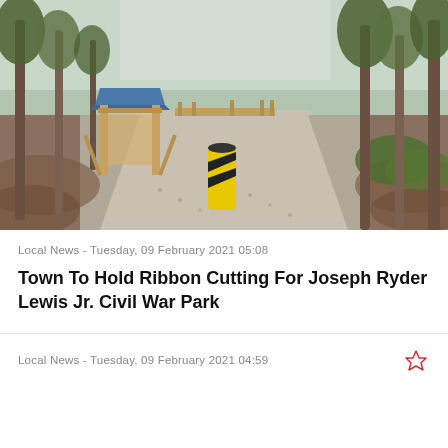[Figure (photo): Gravel trail entrance to a wooded park with a wooden kiosk structure on the left, a yellow bollard in the center, and a wooden bridge visible ahead. Trees line both sides of the path.]
Local News - Tuesday, 09 February 2021 05:08
Town To Hold Ribbon Cutting For Joseph Ryder Lewis Jr. Civil War Park
Local News - Tuesday, 09 February 2021 04:59